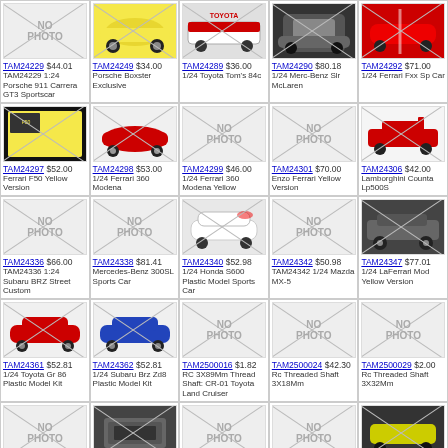| TAM24229 $44.01 TAM24229 1:24 Porsche 911 Carrera GT3 Sportscar | TAM24249 $34.00 Porsche Boxster Exclusive | TAM24289 $36.00 1/24 Toyota Tom's 84c | TAM24290 $80.18 1/24 Merc-Benz Slr McLaren | TAM24292 $71.00 1/24 Ferrari Fxx Sp Car |
| TAM24297 $52.00 Ferrari F50 Yellow Version | TAM24298 $53.00 1/24 Ferrari 360 Modena | TAM24299 $46.00 1/24 Ferrari 360 Modena Yellow | TAM24301 $70.00 Enzo Ferrari Yellow Version | TAM24306 $42.00 Lamborghini Counta Lp500S |
| TAM24336 $66.00 TAM24336 1:24 Subaru BRZ Street Custom | TAM24338 $81.41 Mercedes-Benz 300SL Sports Car | TAM24340 $52.98 1/24 Honda S600 Plastic Model Sports Car | TAM24342 $50.98 TAM24342 1/24 Mazda MX-5 | TAM24347 $77.01 1/24 LaFerrari Mod Yellow Version |
| TAM24361 $52.81 1/24 Toyota Gr 86 Plastic Model Kit | TAM24362 $52.81 1/24 Subaru Brz Zd8 Plastic Model Kit | TAM2500016 $1.82 RC 3X89Mm Thread Shaft: CR-01 Toyota Land Cruiser | TAM2500024 $42.30 Rc Threaded Shaft 3X18Mm | TAM2500029 $2.00 Rc Threaded Shaft 3X32Mm |